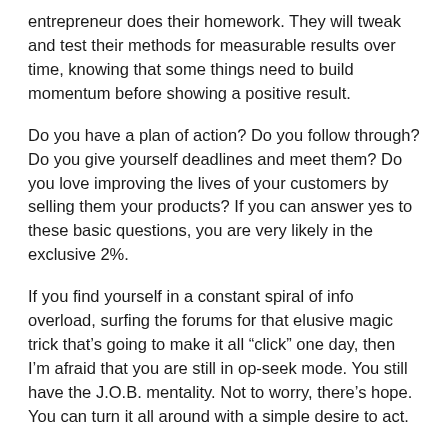entrepreneur does their homework. They will tweak and test their methods for measurable results over time, knowing that some things need to build momentum before showing a positive result.
Do you have a plan of action? Do you follow through? Do you give yourself deadlines and meet them? Do you love improving the lives of your customers by selling them your products? If you can answer yes to these basic questions, you are very likely in the exclusive 2%.
If you find yourself in a constant spiral of info overload, surfing the forums for that elusive magic trick that's going to make it all “click” one day, then I’m afraid that you are still in op-seek mode. You still have the J.O.B. mentality. Not to worry, there’s hope. You can turn it all around with a simple desire to act.
Here’s your new mantra to get you pointed in the right direction. FOCUS – BUILD – SELL